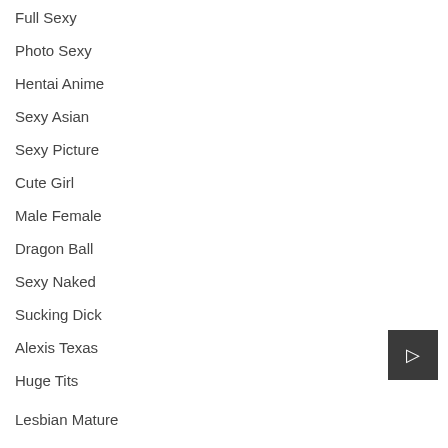Full Sexy
Photo Sexy
Hentai Anime
Sexy Asian
Sexy Picture
Cute Girl
Male Female
Dragon Ball
Sexy Naked
Sucking Dick
Alexis Texas
Huge Tits
Lesbian Mature